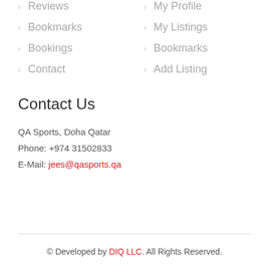Reviews
My Profile
Bookmarks
My Listings
Bookings
Bookmarks
Contact
Add Listing
Contact Us
QA Sports, Doha Qatar
Phone: +974 31502833
E-Mail: jees@qasports.qa
© Developed by DIQ LLC. All Rights Reserved.